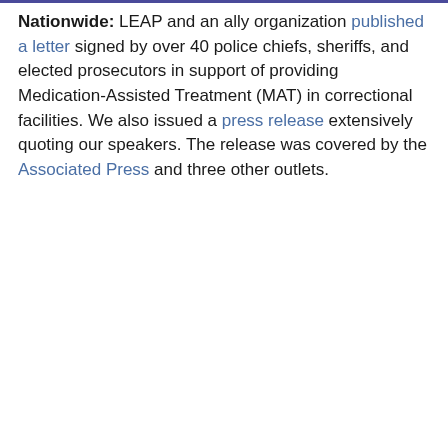Nationwide: LEAP and an ally organization published a letter signed by over 40 police chiefs, sheriffs, and elected prosecutors in support of providing Medication-Assisted Treatment (MAT) in correctional facilities. We also issued a press release extensively quoting our speakers. The release was covered by the Associated Press and three other outlets.